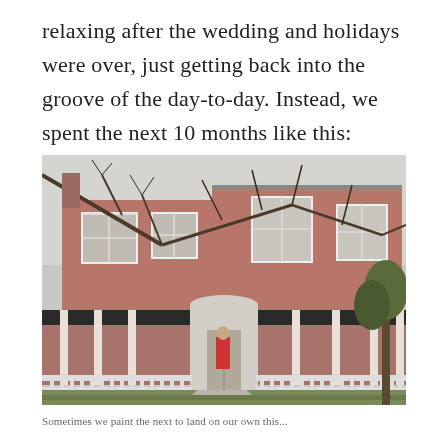relaxing after the wedding and holidays were over, just getting back into the groove of the day-to-day. Instead, we spent the next 10 months like this:
[Figure (photo): Exterior photograph of a large two-story pink/red wooden house with a wide wrap-around front porch featuring white railings and columns. Bare tree branches extend over the roof. A person in a red jacket stands in the doorway. The house has a concrete front walkway and a small front yard.]
Sometimes we paint the next to land on our own this...